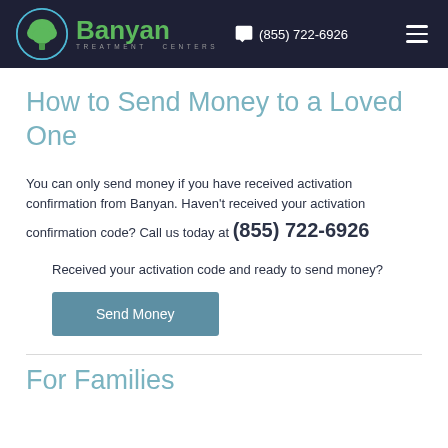Banyan Treatment Centers | (855) 722-6926
How to Send Money to a Loved One
You can only send money if you have received activation confirmation from Banyan. Haven't received your activation confirmation code? Call us today at (855) 722-6926
Received your activation code and ready to send money?
Send Money
For Families